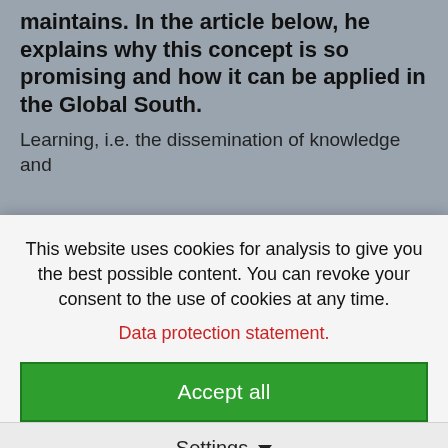maintains. In the article below, he explains why this concept is so promising and how it can be applied in the Global South.
Learning, i.e. the dissemination of knowledge and
This website uses cookies for analysis to give you the best possible content. You can revoke your consent to the use of cookies at any time.
Data protection statement.
Accept all
Settings
also a characteristic of our species, especially when it comes to the acquisition of practical skills.
As a result of the ongoing process of academisation, which is being driven by the commercial interests of